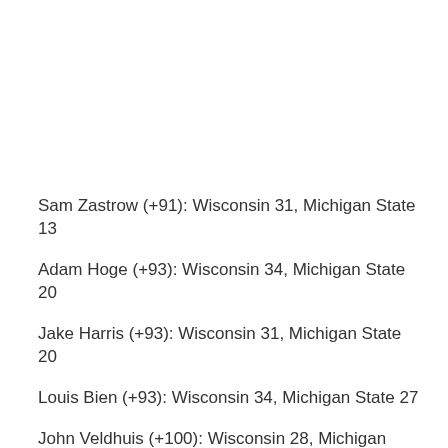Sam Zastrow (+91): Wisconsin 31, Michigan State 13
Adam Hoge (+93): Wisconsin 34, Michigan State 20
Jake Harris (+93): Wisconsin 31, Michigan State 20
Louis Bien (+93): Wisconsin 34, Michigan State 27
John Veldhuis (+100): Wisconsin 28, Michigan State 17
Chuck Schwartz (+101): Wisconsin 34, Michigan State 17